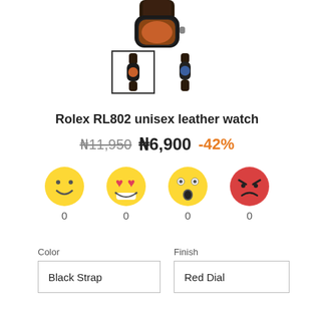[Figure (photo): Top portion of a Rolex watch with dark leather strap, partially cropped at the top of the page]
[Figure (photo): Two thumbnail images of the watch: left thumbnail selected with border (brown/red dial), right thumbnail unselected (blue dial)]
Rolex RL802 unisex leather watch
₦11,950  ₦6,900  -42%
[Figure (infographic): Four emoji reaction icons with counts: smiley face (0), heart eyes (0), astonished face (0), angry face (0)]
Color
Finish
Black Strap
Red Dial